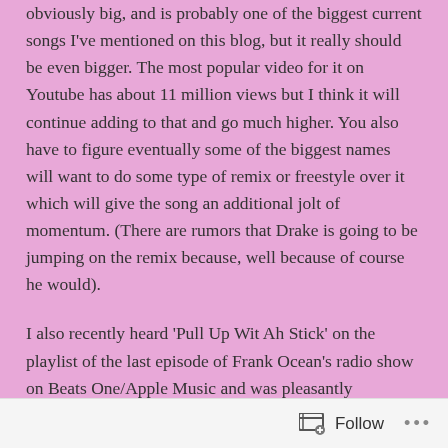obviously big, and is probably one of the biggest current songs I've mentioned on this blog, but it really should be even bigger. The most popular video for it on Youtube has about 11 million views but I think it will continue adding to that and go much higher. You also have to figure eventually some of the biggest names will want to do some type of remix or freestyle over it which will give the song an additional jolt of momentum. (There are rumors that Drake is going to be jumping on the remix because, well because of course he would).
I also recently heard 'Pull Up Wit Ah Stick' on the playlist of the last episode of Frank Ocean's radio show on Beats One/Apple Music and was pleasantly surprised, and you figure that type of shout out/cosign will give the track exposure to a whole new type of audience that probably isn't always looking out for this
Follow •••